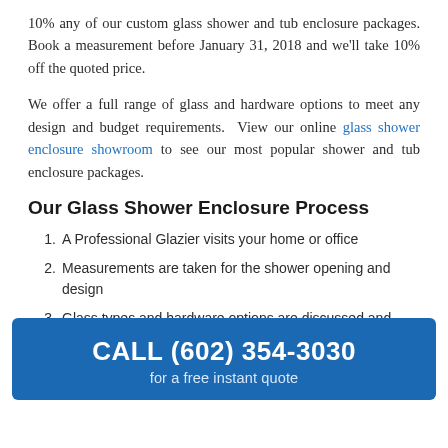10% any of our custom glass shower and tub enclosure packages. Book a measurement before January 31, 2018 and we'll take 10% off the quoted price.
We offer a full range of glass and hardware options to meet any design and budget requirements. View our online glass shower enclosure showroom to see our most popular shower and tub enclosure packages.
Our Glass Shower Enclosure Process
A Professional Glazier visits your home or office
Measurements are taken for the shower opening and design
Glass types and hardware options are discussed and
CALL (602) 354-3030 for a free instant quote